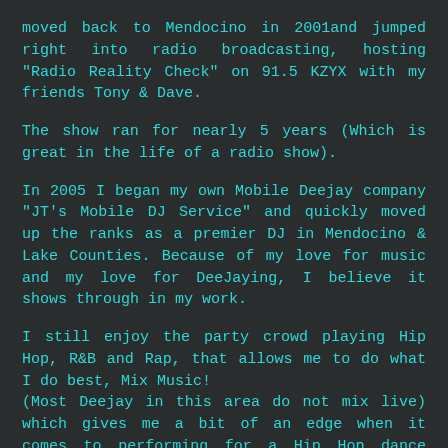moved back to Mendocino in 2001and jumped right into radio broadcasting, hosting "Radio Reality Check" on 91.5 KZYX with my friends Tony & Dave.
The show ran for nearly 5 years (Which is great in the life of a radio show).
In 2005 I began my own Mobile Deejay company "JT's Mobile DJ Service" and quickly moved up the ranks as a premier DJ in Mendocino & Lake Counties. Because of my love for music and my love for DeeJaying, I believe it shows through in my work.
I still enjoy the party crowd playing Hip Hop, R&B and Rap, that allows me to do what I do best, Mix Music!
(Most Deejay in this area do not mix live) which gives me a bit of an edge when it comes to performing for a Hip Hop dance crowd.
I take Deejaying a wedding very serious. I understand that your wedding day will be the memory of a lifetime.
It is important to me to make sure that your special day is